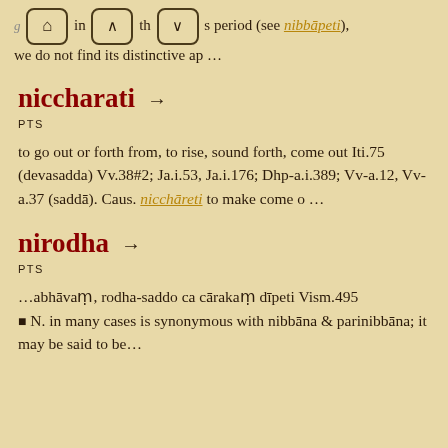period (see nibbāpeti), we do not find its distinctive ap …
niccharati →
PTS
to go out or forth from, to rise, sound forth, come out Iti.75 (devasadda) Vv.38#2; Ja.i.53, Ja.i.176; Dhp-a.i.389; Vv-a.12, Vv-a.37 (saddā). Caus. nicchāreti to make come o …
nirodha →
PTS
…abhāvaṃ, rodha-saddo ca cārakaṃ dīpeti Vism.495
■ N. in many cases is synonymous with nibbāna & parinibbāna; it may be said to be…